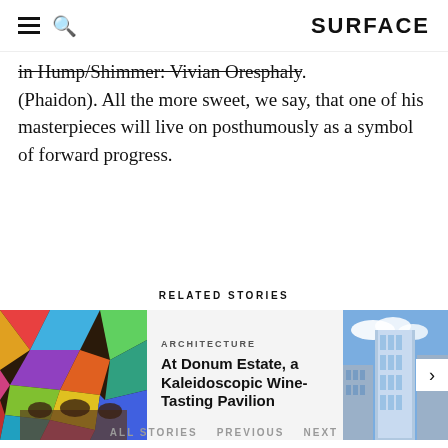SURFACE
in Hump/Shimmer: Vivian Oresphaly. (Phaidon). All the more sweet, we say, that one of his masterpieces will live on posthumously as a symbol of forward progress.
RELATED STORIES
[Figure (photo): Colorful stained-glass-like ceiling with people seated below in a pavilion setting]
ARCHITECTURE
At Donum Estate, a Kaleidoscopic Wine-Tasting Pavilion
[Figure (photo): Tall glass skyscraper against blue sky]
ALL STORIES   PREVIOUS   NEXT